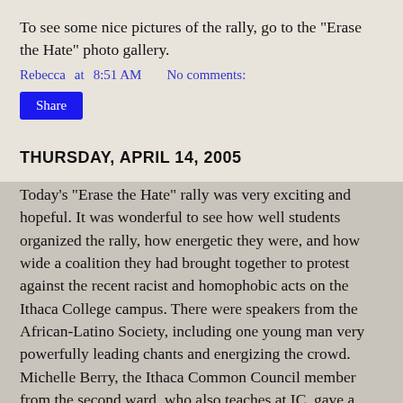To see some nice pictures of the rally, go to the "Erase the Hate" photo gallery.
Rebecca at 8:51 AM    No comments:
Share
THURSDAY, APRIL 14, 2005
Today's "Erase the Hate" rally was very exciting and hopeful. It was wonderful to see how well students organized the rally, how energetic they were, and how wide a coalition they had brought together to protest against the recent racist and homophobic acts on the Ithaca College campus. There were speakers from the African-Latino Society, including one young man very powerfully leading chants and energizing the crowd. Michelle Berry, the Ithaca Common Council member from the second ward, who also teaches at IC, gave a poetic and encouraging speech, as did Leslyn McBean Claybourn, one of the representatives on the Tompkins County Legislature. Amy Liu, from the Asian Culture Club, gave a powerful speech against racism. Representatives from prism, the